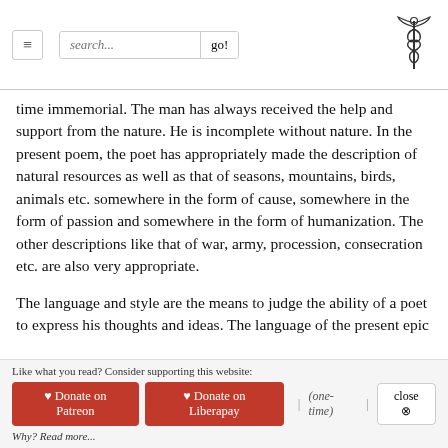Navigation bar with hamburger menu, search box, go button, and caduceus logo
time immemorial. The man has always received the help and support from the nature. He is incomplete without nature. In the present poem, the poet has appropriately made the description of natural resources as well as that of seasons, mountains, birds, animals etc. somewhere in the form of cause, somewhere in the form of passion and somewhere in the form of humanization. The other descriptions like that of war, army, procession, consecration etc. are also very appropriate.
The language and style are the means to judge the ability of a poet to express his thoughts and ideas. The language of the present epic is sensitive and heart-touching. In the present poem, the Prasādaguṇa is presented as the chief Guṇa, though there are present three guṇas viz., Mādhurya, Oja and Prasāda. In the poem, defects like Śrutikaṭutva, Nirarthakatva, Upahatavisarga etc. are also found. But these defects are found negligible due to
Like what you read? Consider supporting this website: ♥ Donate on Patreon  ♥ Donate on Liberapay  | (one-time) |  close ⊗  Why? Read more...